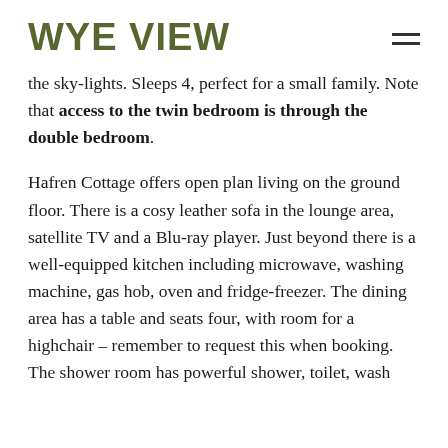WYE VIEW
the sky-lights. Sleeps 4, perfect for a small family. Note that access to the twin bedroom is through the double bedroom.
Hafren Cottage offers open plan living on the ground floor. There is a cosy leather sofa in the lounge area, satellite TV and a Blu-ray player. Just beyond there is a well-equipped kitchen including microwave, washing machine, gas hob, oven and fridge-freezer. The dining area has a table and seats four, with room for a highchair – remember to request this when booking. The shower room has powerful shower, toilet, wash